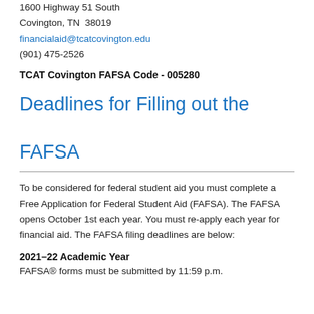1600 Highway 51 South
Covington, TN  38019
financialaid@tcatcovington.edu
(901) 475-2526
TCAT Covington FAFSA Code - 005280
Deadlines for Filling out the FAFSA
To be considered for federal student aid you must complete a Free Application for Federal Student Aid (FAFSA). The FAFSA opens October 1st each year. You must re-apply each year for financial aid. The FAFSA filing deadlines are below:
2021–22 Academic Year
FAFSA® forms must be submitted by 11:59 p.m.